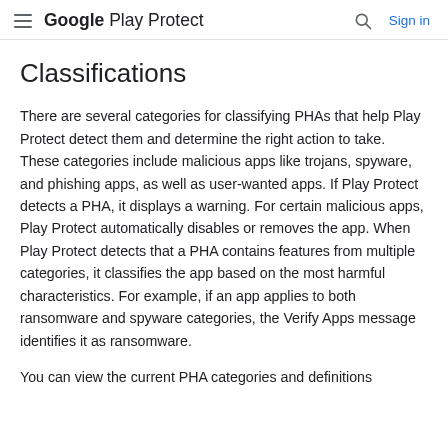Google Play Protect  Sign in
Classifications
There are several categories for classifying PHAs that help Play Protect detect them and determine the right action to take. These categories include malicious apps like trojans, spyware, and phishing apps, as well as user-wanted apps. If Play Protect detects a PHA, it displays a warning. For certain malicious apps, Play Protect automatically disables or removes the app. When Play Protect detects that a PHA contains features from multiple categories, it classifies the app based on the most harmful characteristics. For example, if an app applies to both ransomware and spyware categories, the Verify Apps message identifies it as ransomware.
You can view the current PHA categories and definitions